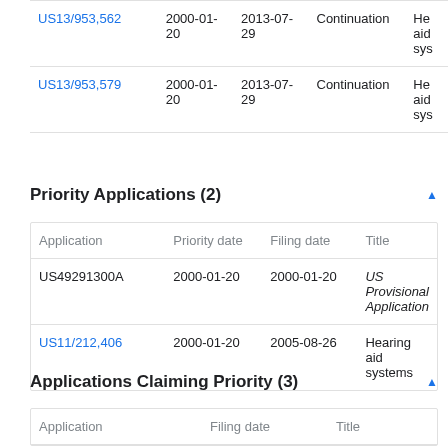| Application | Priority date | Filing date | Type | Title |
| --- | --- | --- | --- | --- |
| US13/953,562 | 2000-01-20 | 2013-07-29 | Continuation | He aid sys |
| US13/953,579 | 2000-01-20 | 2013-07-29 | Continuation | He aid sys |
Priority Applications (2)
| Application | Priority date | Filing date | Title |
| --- | --- | --- | --- |
| US49291300A | 2000-01-20 | 2000-01-20 | US Provisional Application |
| US11/212,406 | 2000-01-20 | 2005-08-26 | Hearing aid systems |
Applications Claiming Priority (3)
| Application | Filing date | Title |
| --- | --- | --- |